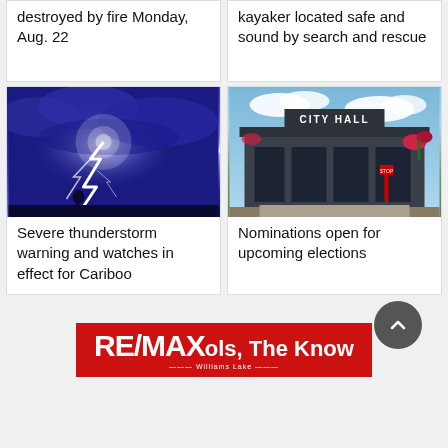destroyed by fire Monday, Aug. 22
kayaker located safe and sound by search and rescue
[Figure (photo): Lightning storm with bright lightning bolt against a deep blue stormy sky]
[Figure (photo): City Hall building exterior with flowers and dark facade, sign reading CITY HALL]
Severe thunderstorm warning and watches in effect for Cariboo
Nominations open for upcoming elections
[Figure (logo): RE/MAX Williams Lake advertisement banner - red background with RE/MAX logo and text 'ols, The Know']